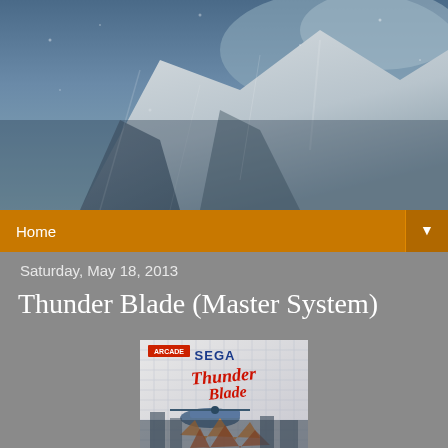[Figure (photo): Snowy mountain/avalanche scene used as blog header background]
1CC Log for Shmups
Home
Saturday, May 18, 2013
Thunder Blade (Master System)
[Figure (photo): Thunder Blade Sega Master System game cover art showing helicopter combat scene with ARCADE and SEGA Thunder Blade logo]